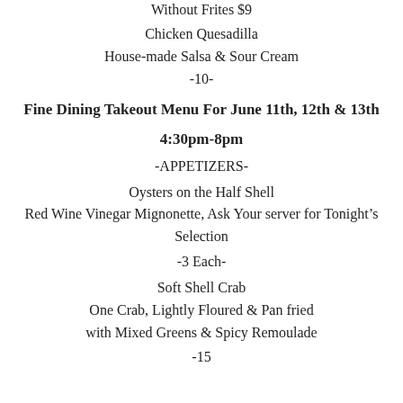Without Frites $9
Chicken Quesadilla
House-made Salsa & Sour Cream
-10-
Fine Dining Takeout Menu For June 11th, 12th & 13th
4:30pm-8pm
-APPETIZERS-
Oysters on the Half Shell
Red Wine Vinegar Mignonette, Ask Your server for Tonight's Selection
-3 Each-
Soft Shell Crab
One Crab, Lightly Floured & Pan fried
with Mixed Greens & Spicy Remoulade
-15